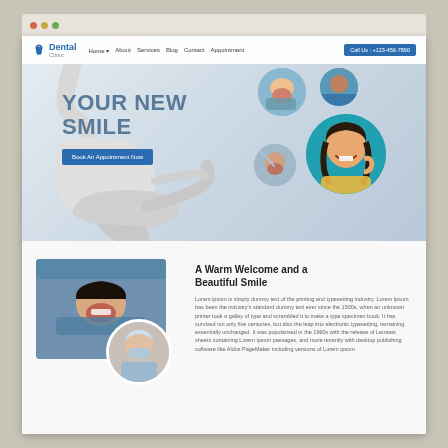[Figure (screenshot): Browser window showing a dental clinic website with hero section featuring 'YOUR NEW SMILE' headline, dental chair imagery, circular patient photos, navigation bar with 'Dental Clinic' logo, and a 'Book An Appointment Now' button. Below the hero is a 'A Warm Welcome and a Beautiful Smile' section with patient photos and Lorem Ipsum text.]
YOUR NEW SMILE
Book An Appointment Now
A Warm Welcome and a Beautiful Smile
Lorem ipsum is simply dummy text of the printing and typesetting industry. Lorem Ipsum has been the industry's standard dummy text ever since the 1500s, when an unknown printer took a galley of type and scrambled it to make a type specimen book. It has survived not only five centuries, but also the leap into electronic typesetting, remaining essentially unchanged. It was popularised in the 1960s with the release of Letraset sheets containing Lorem ipsum passages, and more recently with desktop publishing software like Aldus PageMaker including versions of Lorem ipsum.